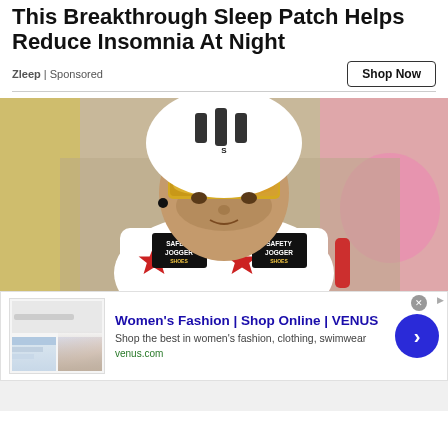This Breakthrough Sleep Patch Helps Reduce Insomnia At Night
Zleep | Sponsored
[Figure (photo): Close-up photo of a professional cyclist wearing a white jersey with Safety Jogger Shoes branding and red star logo, wearing a white helmet and gold mirrored sunglasses, with blurred background showing other cyclists]
[Figure (screenshot): Online advertisement banner for VENUS Women's Fashion showing thumbnail screenshots of the website, text 'Women's Fashion | Shop Online | VENUS', description 'Shop the best in women's fashion, clothing, swimwear', URL 'venus.com', and a blue circular arrow button]